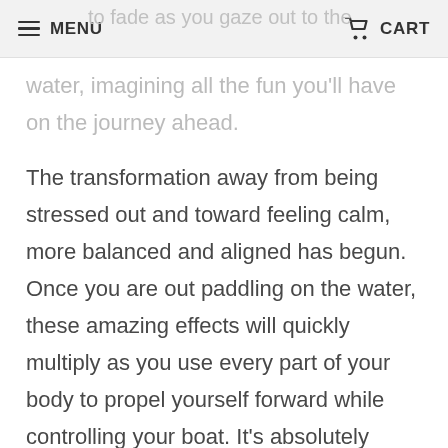MENU | CART
to fade as you gaze out to the water, imagining all the fun you'll have on the journey ahead.
The transformation away from being stressed out and toward feeling calm, more balanced and aligned has begun. Once you are out paddling on the water, these amazing effects will quickly multiply as you use every part of your body to propel yourself forward while controlling your boat. It's absolutely incredible!